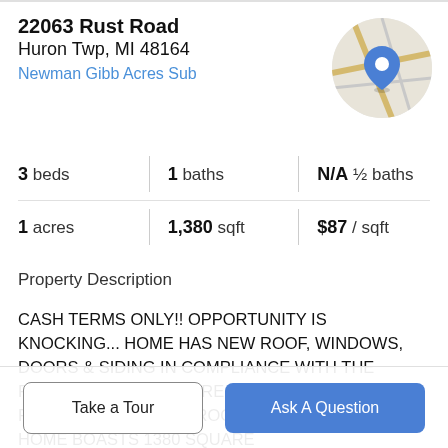22063 Rust Road
Huron Twp, MI 48164
Newman Gibb Acres Sub
[Figure (map): Circular map thumbnail showing street map with a blue location pin marker]
| beds | baths | ½ baths | acres | sqft | / sqft |
| --- | --- | --- | --- | --- | --- |
| 3 beds | 1 baths | N/A ½ baths | 1 acres | 1,380 sqft | $87 / sqft |
Property Description
CASH TERMS ONLY!! OPPORTUNITY IS KNOCKING... HOME HAS NEW ROOF, WINDOWS, DOORS & SIDING IN COMPLIANCE WITH THE PREVIOUS OWNERS FIRE CAUSED BY GRILL ON FRONT PORCH. 3 BEDROOM CAPE COD STYLE HOME BOASTS 1380 SQUARE
Take a Tour
Ask A Question